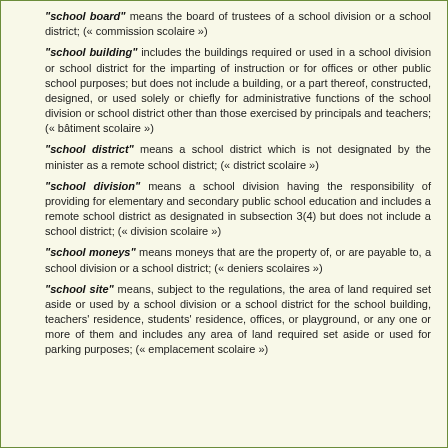"school board" means the board of trustees of a school division or a school district; (« commission scolaire »)
"school building" includes the buildings required or used in a school division or school district for the imparting of instruction or for offices or other public school purposes; but does not include a building, or a part thereof, constructed, designed, or used solely or chiefly for administrative functions of the school division or school district other than those exercised by principals and teachers; (« bâtiment scolaire »)
"school district" means a school district which is not designated by the minister as a remote school district; (« district scolaire »)
"school division" means a school division having the responsibility of providing for elementary and secondary public school education and includes a remote school district as designated in subsection 3(4) but does not include a school district; (« division scolaire »)
"school moneys" means moneys that are the property of, or are payable to, a school division or a school district; (« deniers scolaires »)
"school site" means, subject to the regulations, the area of land required set aside or used by a school division or a school district for the school building, teachers' residence, students' residence, offices, or playground, or any one or more of them and includes any area of land required set aside or used for parking purposes; (« emplacement scolaire »)